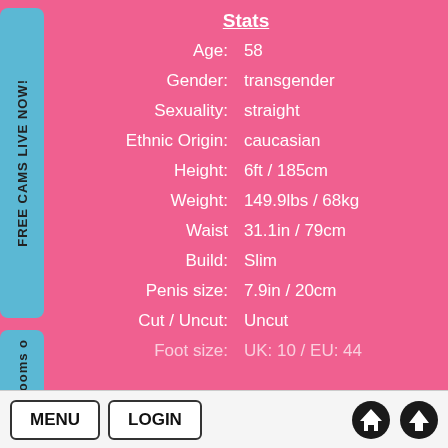Stats
| Field | Value |
| --- | --- |
| Age: | 58 |
| Gender: | transgender |
| Sexuality: | straight |
| Ethnic Origin: | caucasian |
| Height: | 6ft / 185cm |
| Weight: | 149.9lbs / 68kg |
| Waist | 31.1in / 79cm |
| Build: | Slim |
| Penis size: | 7.9in / 20cm |
| Cut / Uncut: | Uncut |
| Foot size: | UK: 10 / EU: 44 |
FREE CAMS LIVE NOW!
Chatrooms o
MENU  LOGIN